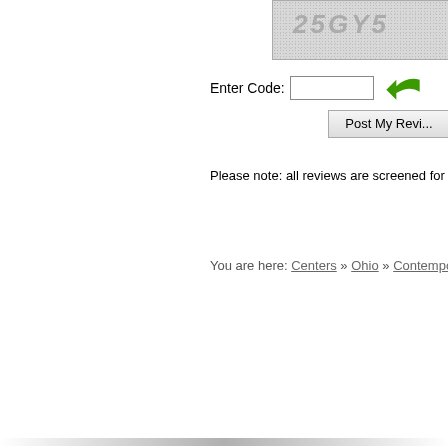[Figure (other): CAPTCHA image with distorted text '25GY5' on a noisy grey background]
Enter Code:
Post My Revi...
Please note: all reviews are screened for spam
You are here: Centers » Ohio » Contemporary Arts Cente...
Piano Lessons | Guitar Lessons | Violin Lessons | Drum Lessons | Vocal L...
Music and Instrument Lessons | Add Your Business (FREE) | Contact us | Instrume...
All information for archive purposes only.
Instrument Lessons .org does not guarantee the accuracy or timeliness of any information on this site.
Use at your own risk.